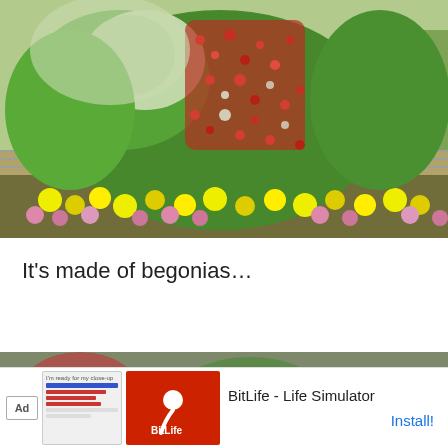[Figure (photo): Large topiary sculpture of an elephant made entirely of begonias and green foliage, with red and white flowers forming patterns on the body. Yellow and pink chrysanthemums ring the base. Outdoor setting with pavement and trees in background.]
It's made of begonias…
[Figure (photo): Partial view of another floral display or garden scene, mostly obscured by an advertisement banner at the bottom.]
[Figure (screenshot): Advertisement banner for BitLife - Life Simulator app. Shows Ad label, app icon with sperm cell on red background, app name 'BitLife - Life Simulator', and Install! link in blue.]